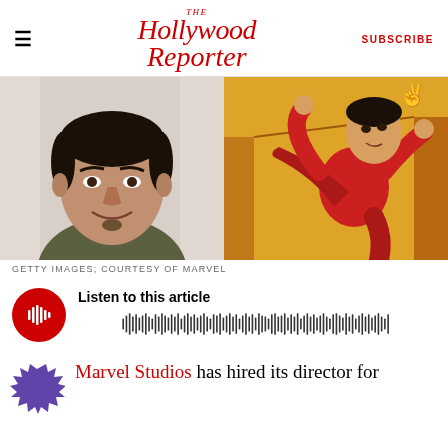The Hollywood Reporter | SUBSCRIBE
[Figure (photo): Left: headshot of an Asian man smiling, wearing a dark olive t-shirt against a white background. Right: Marvel comic illustration of a martial arts character in a red suit performing a kick.]
GETTY IMAGES; COURTESY OF MARVEL
[Figure (other): Audio player widget with red circular play button showing waveform icon and audio waveform visualization bar, titled 'Listen to this article']
Marvel Studios has hired its director for